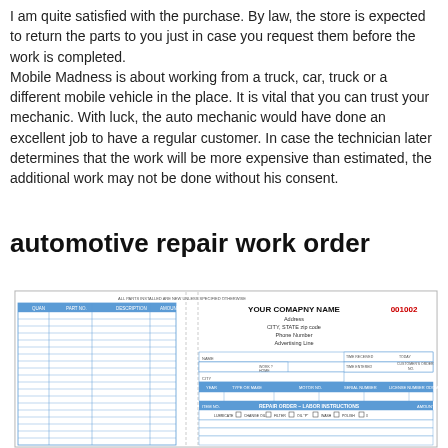I am quite satisfied with the purchase. By law, the store is expected to return the parts to you just in case you request them before the work is completed. Mobile Madness is about working from a truck, car, truck or a different mobile vehicle in the place. It is vital that you can trust your mechanic. With luck, the auto mechanic would have done an excellent job to have a regular customer. In case the technician later determines that the work will be more expensive than estimated, the additional work may not be done without his consent.
automotive repair work order
[Figure (other): An automotive repair work order form template showing a multi-column parts table on the left and a company info header with customer/vehicle fields on the right, including YOUR COMAPNY NAME, Address, CITY STATE zip code, Phone Number, Advertising Line, order number 001002, and a REPAIR ORDER – LABOR INSTRUCTIONS section.]